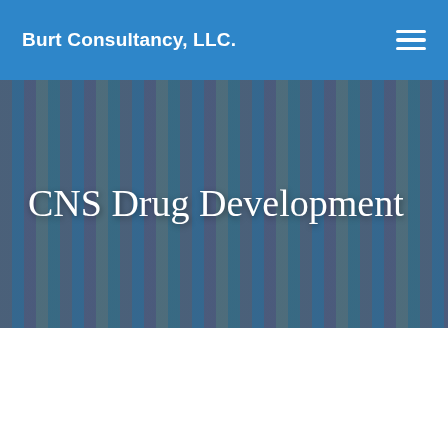Burt Consultancy, LLC.
CNS Drug Development
[Figure (photo): Brain PET scan images showing two axial slices side by side (labeled 'b'), displaying heat-map colorization of brain activity with purple background, bright red/yellow hotspots in basal ganglia regions on the left image, and yellow/orange hotspots on the right image. A vertical golden divider line separates the two scans.]